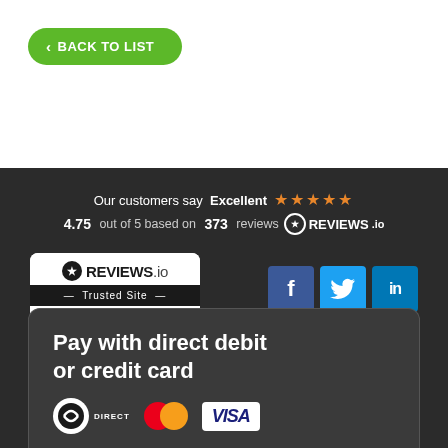< BACK TO LIST
Our customers say Excellent ★★★★★
4.75 out of 5 based on 373 reviews REVIEWS.io
[Figure (logo): REVIEWS.io Trusted Site badge]
[Figure (infographic): Social media icons: Facebook, Twitter, LinkedIn]
Pay with direct debit or credit card
[Figure (logo): Direct Debit, Mastercard, and Visa payment logos]